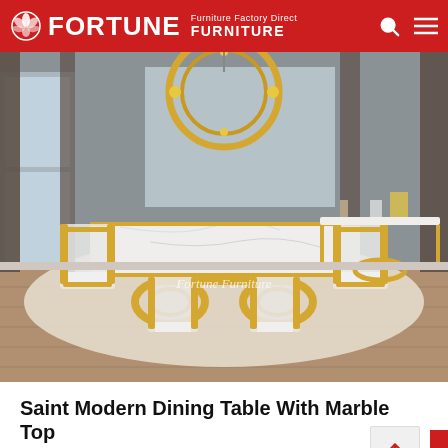FORTUNE FURNITURE — Furniture Factory Direct
[Figure (photo): A modern dining room featuring a rectangular marble-top dining table with a gold stainless steel base shaped in interlocking circles. Six transparent/acrylic chairs with white cushions and gold frames surround the table. A matching console table is visible in the background. Overhead hangs a circular gold chandelier. The room has grey walls, wood-look flooring, a large area rug, and curtains. Watermark reads 'Fortune Furniture'.]
Saint Modern Dining Table With Marble Top